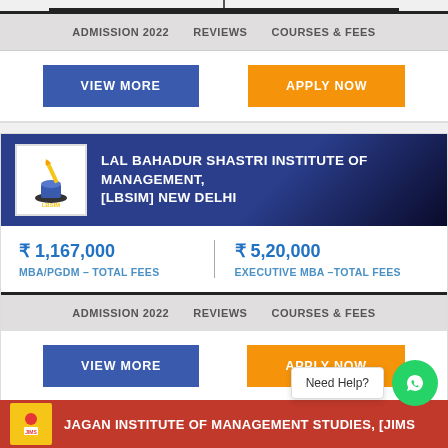ADMISSION 2022   REVIEWS   COURSES & FEES
VIEW MORE   APPLY NOW
LAL BAHADUR SHASTRI INSTITUTE OF MANAGEMENT, [LBSIM] NEW DELHI
₹ 1,167,000
MBA/PGDM – TOTAL FEES
₹ 5,20,000
EXECUTIVE MBA –TOTAL FEES
ADMISSION 2022   REVIEWS   COURSES & FEES
VIEW MORE   APPLY NOW
JAGAN INSTITUTE OF MANAGEMENT STUDIES, [JIMS
Need Help?